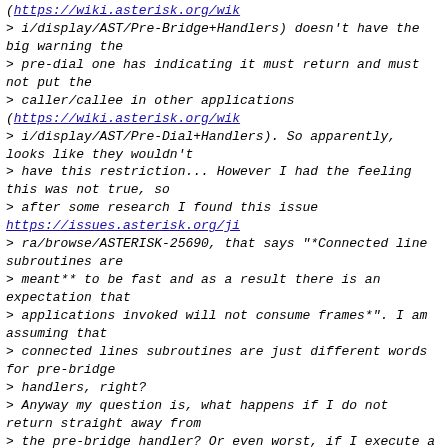(<https://wiki.asterisk.org/wik> i/display/AST/Pre-Bridge+Handlers) doesn't have the big warning the > pre-dial one has indicating it must return and must not put the > caller/callee in other applications (<https://wiki.asterisk.org/wik> > i/display/AST/Pre-Dial+Handlers). So apparently, looks like they wouldn't > have this restriction... However I had the feeling this was not true, so > after some research I found this issue https://issues.asterisk.org/ji > ra/browse/ASTERISK-25690, that says "*Connected line subroutines are > meant** to be fast and as a result there is an expectation that > applications invoked will not consume frames*". I am assuming that > connected lines subroutines are just different words for pre-bridge > handlers, right? > Anyway my question is, what happens if I do not return straight away from > the pre-bridge handler? Or even worst, if I execute a Dial application for > example? Will I fall in some "undefined behaviour"? > > Anyone has experienced something like this? >